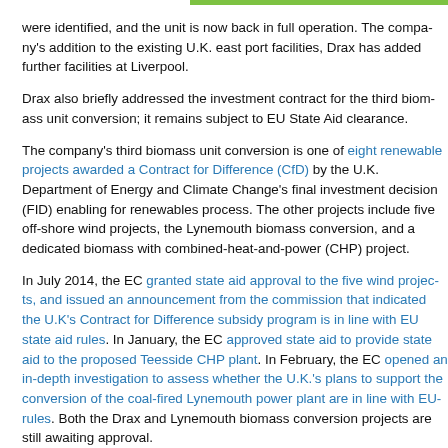were identified, and the unit is now back in full operation. The company's addition to the existing U.K. east port facilities, Drax has added further facilities at Liverpool.
Drax also briefly addressed the investment contract for the third biomass unit conversion; it remains subject to EU State Aid clearance.
The company's third biomass unit conversion is one of eight renewable projects awarded a Contract for Difference (CfD) by the U.K. Department of Energy and Climate Change's final investment decision (FID) enabling for renewables process. The other projects include five off-shore wind projects, the Lynemouth biomass conversion, and a dedicated biomass with combined-heat-and-power (CHP) project.
In July 2014, the EC granted state aid approval to the five wind projects, and issued an announcement from the commission that indicated the U.K's Contract for Difference subsidy program is in line with EU state aid rules. In January, the EC approved state aid to provide state aid to the proposed Teesside CHP plant. In February, the EC opened an in-depth investigation to assess whether the U.K.'s plans to support the conversion of the coal-fired Lynemouth power plant are in line with EU rules. Both the Drax and Lynemouth biomass conversion projects are still awaiting approval.
Drax's full year results are expected to be released in February.